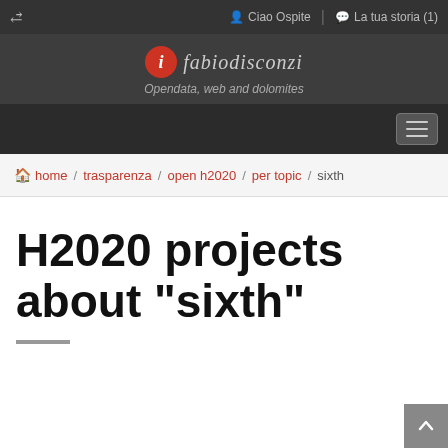share  Ciao Ospite  La tua storia (1)
[Figure (logo): fabiodisconzi logo with red circle icon and italic text, tagline: Opendata, web and dolomites]
Navigation toggle button
home / trasparenza / open h2020 / per topic / sixth
H2020 projects about "sixth"